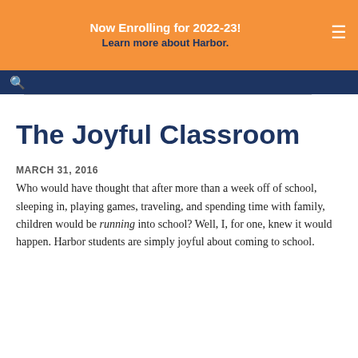Now Enrolling for 2022-23!
Learn more about Harbor.
The Joyful Classroom
MARCH 31, 2016
Who would have thought that after more than a week off of school, sleeping in, playing games, traveling, and spending time with family, children would be running into school? Well, I, for one, knew it would happen. Harbor students are simply joyful about coming to school.